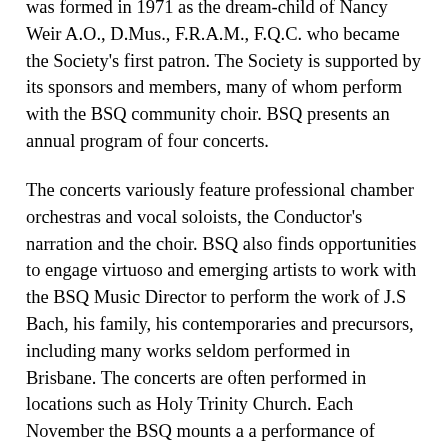was formed in 1971 as the dream-child of Nancy Weir A.O., D.Mus., F.R.A.M., F.Q.C. who became the Society's first patron. The Society is supported by its sponsors and members, many of whom perform with the BSQ community choir. BSQ presents an annual program of four concerts.
The concerts variously feature professional chamber orchestras and vocal soloists, the Conductor's narration and the choir. BSQ also finds opportunities to engage virtuoso and emerging artists to work with the BSQ Music Director to perform the work of J.S Bach, his family, his contemporaries and precursors, including many works seldom performed in Brisbane. The concerts are often performed in locations such as Holy Trinity Church. Each November the BSQ mounts a a performance of Handel's Messiah. A full chamber orchestra, soloists and the BSQ community choir are complemented by other community choristers who rehearse and perform this major choral work in St John's Cathedral Brisbane. The Society welcomes